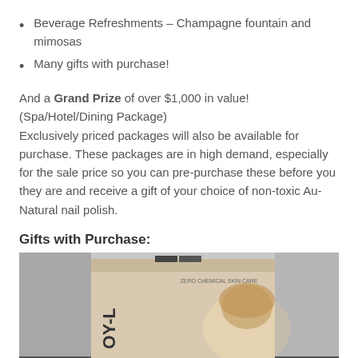Beverage Refreshments – Champagne fountain and mimosas
Many gifts with purchase!
And a Grand Prize of over $1,000 in value! (Spa/Hotel/Dining Package)
Exclusively priced packages will also be available for purchase. These packages are in high demand, especially for the sale price so you can pre-purchase these before you they are and receive a gift of your choice of non-toxic Au-Natural nail polish.
Gifts with Purchase:
[Figure (photo): Photo of a woman with a skincare/beauty product box labeled OY-L with 'zero chemical skin care' text, displayed against a blurred background.]